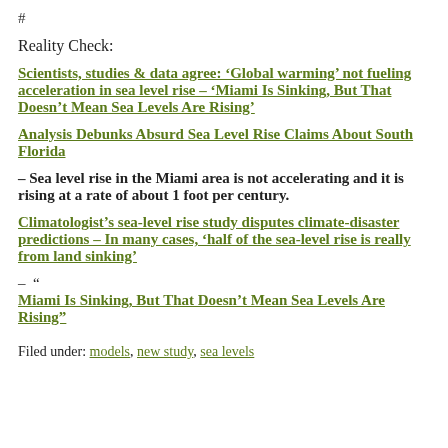#
Reality Check:
Scientists, studies & data agree: ‘Global warming’ not fueling acceleration in sea level rise – ‘Miami Is Sinking, But That Doesn’t Mean Sea Levels Are Rising’
Analysis Debunks Absurd Sea Level Rise Claims About South Florida
– Sea level rise in the Miami area is not accelerating and it is rising at a rate of about 1 foot per century.
Climatologist’s sea-level rise study disputes climate-disaster predictions – In many cases, ‘half of the sea-level rise is really from land sinking’
–  “
Miami Is Sinking, But That Doesn’t Mean Sea Levels Are Rising”
Filed under: models, new study, sea levels